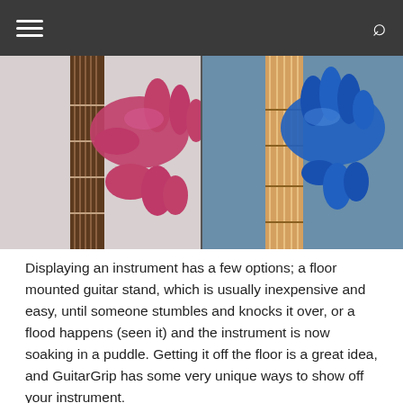[Figure (photo): Split composite photo: left half shows a metallic pink/magenta mannequin hand holding the neck of a guitar with visible frets and strings against a light background; right half shows a blue metallic mannequin hand holding a wooden guitar neck against a blue background.]
Displaying an instrument has a few options; a floor mounted guitar stand, which is usually inexpensive and easy, until someone stumbles and knocks it over, or a flood happens (seen it) and the instrument is now soaking in a puddle. Getting it off the floor is a great idea, and GuitarGrip has some very unique ways to show off your instrument.
We received two very cool hangers, one was a very sexy feminine hand, their Blue Valkyrie. The other is a very masculine Copper